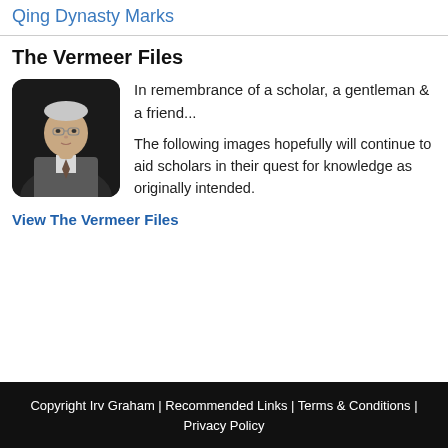Qing Dynasty Marks
The Vermeer Files
[Figure (photo): Portrait photo of an older gentleman in a grey suit and tie against a dark background]
In remembrance of a scholar, a gentleman & a friend...

The following images hopefully will continue to aid scholars in their quest for knowledge as originally intended.
View The Vermeer Files
Copyright Irv Graham | Recommended Links | Terms & Conditions | Privacy Policy